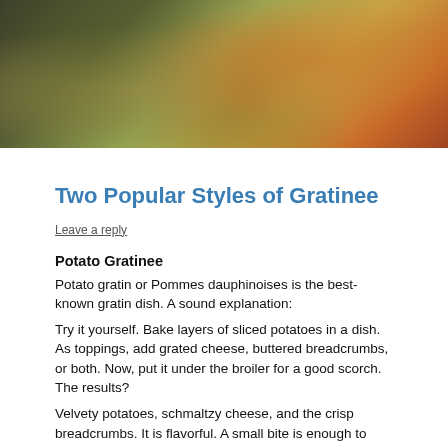[Figure (photo): A close-up photo of a gratinee dish — baked vegetables with melted cheese and golden-brown toppings in a dark pan]
Two Popular Styles of Gratinee
Leave a reply
Potato Gratinee
Potato gratin or Pommes dauphinoises is the best-known gratin dish. A sound explanation:
Try it yourself. Bake layers of sliced potatoes in a dish. As toppings, add grated cheese, buttered breadcrumbs, or both. Now, put it under the broiler for a good scorch. The results?
Velvety potatoes, schmaltzy cheese, and the crisp breadcrumbs. It is flavorful. A small bite is enough to make